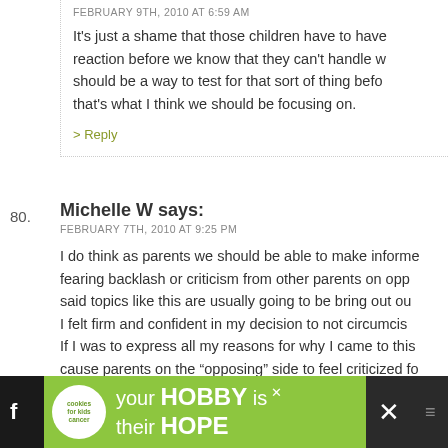FEBRUARY 9TH, 2010 AT 6:59 AM
It’s just a shame that those children have to have a reaction before we know that they can’t handle w... should be a way to test for that sort of thing befo... that’s what I think we should be focusing on.
> Reply
80. Michelle W says:
FEBRUARY 7TH, 2010 AT 9:25 PM
I do think as parents we should be able to make informe... fearing backlash or criticism from other parents on opp... said topics like this are usually going to be bring out ou... I felt firm and confident in my decision to not circumcis... If I was to express all my reasons for why I came to this... cause parents on the “opposing” side to feel criticized fo... but that wouldn’t be my intention.
> Reply
[Figure (infographic): Advertisement banner: cookies for kids cancer - your HOBBY is their HOPE]